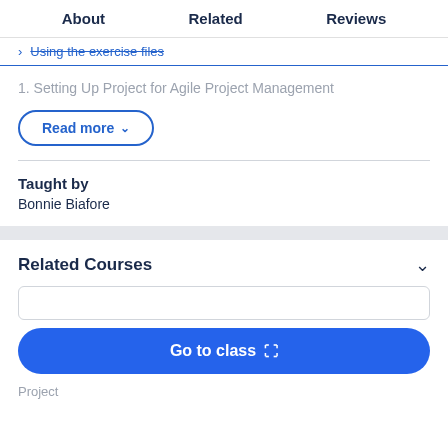About   Related   Reviews
Using the exercise files
1. Setting Up Project for Agile Project Management
Read more ∨
Taught by
Bonnie Biafore
Related Courses
Go to class
Project